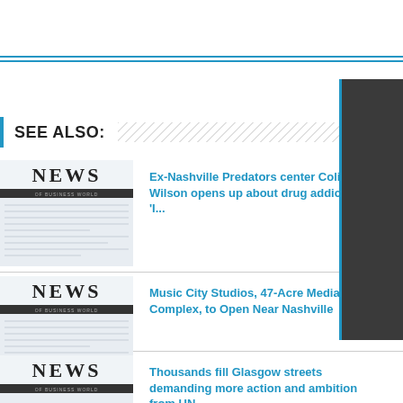SEE ALSO:
[Figure (photo): Newspaper thumbnail image showing the word NEWS]
Ex-Nashville Predators center Colin Wilson opens up about drug addiction: 'I...
[Figure (photo): Newspaper thumbnail image showing the word NEWS]
Music City Studios, 47-Acre Media Complex, to Open Near Nashville
[Figure (photo): Newspaper thumbnail image showing the word NEWS]
Thousands fill Glasgow streets demanding more action and ambition from UN...